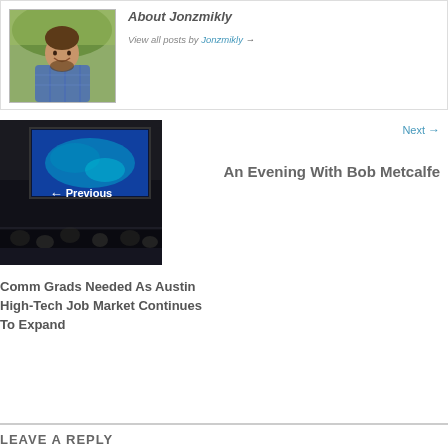About Jonzmikly
View all posts by Jonzmikly →
[Figure (photo): Photo of a smiling man in a blue plaid shirt outdoors]
Next →
An Evening With Bob Metcalfe
[Figure (photo): Dark image of people in a presentation room with a blue projection screen]
← Previous
Comm Grads Needed As Austin High-Tech Job Market Continues To Expand
LEAVE A REPLY